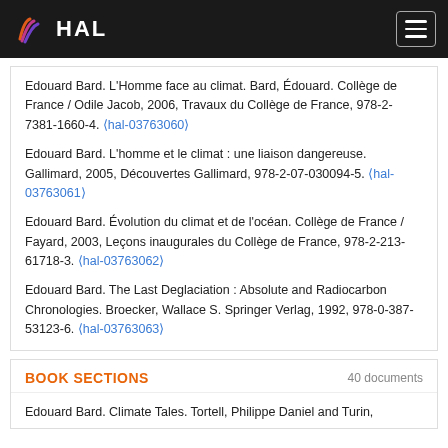HAL
Edouard Bard. L'Homme face au climat. Bard, Édouard. Collège de France / Odile Jacob, 2006, Travaux du Collège de France, 978-2-7381-1660-4. ⟨hal-03763060⟩
Edouard Bard. L'homme et le climat : une liaison dangereuse. Gallimard, 2005, Découvertes Gallimard, 978-2-07-030094-5. ⟨hal-03763061⟩
Edouard Bard. Évolution du climat et de l'océan. Collège de France / Fayard, 2003, Leçons inaugurales du Collège de France, 978-2-213-61718-3. ⟨hal-03763062⟩
Edouard Bard. The Last Deglaciation : Absolute and Radiocarbon Chronologies. Broecker, Wallace S. Springer Verlag, 1992, 978-0-387-53123-6. ⟨hal-03763063⟩
BOOK SECTIONS   40 documents
Edouard Bard. Climate Tales. Tortell, Philippe Daniel and Turin,